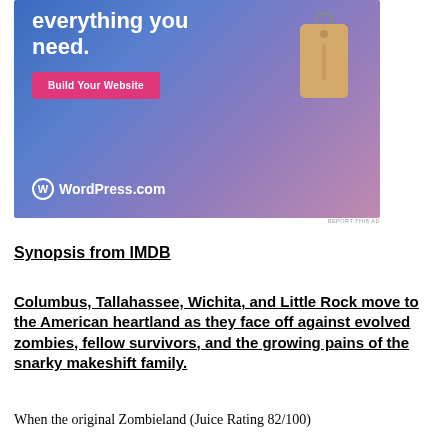[Figure (illustration): WordPress.com advertisement banner with blue-purple gradient background, showing 'everything you need.' text, a pink 'Build Your Website' button, a price tag illustration, and WordPress.com logo at bottom left. 'REPORT THIS AD' text appears below the banner.]
Synopsis from IMDB
Columbus, Tallahassee, Wichita, and Little Rock move to the American heartland as they face off against evolved zombies, fellow survivors, and the growing pains of the snarky makeshift family.
When the original Zombieland (Juice Rating 82/100)